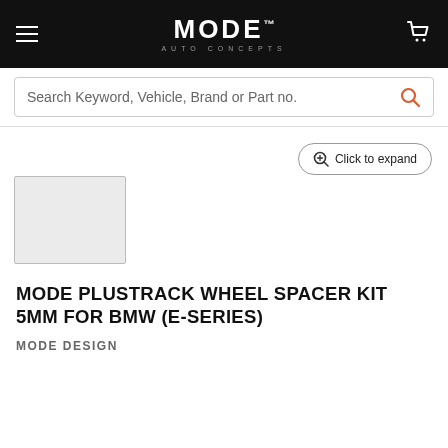MODE AUTO CONCEPTS
Search Keyword, Vehicle, Brand or Part no.
[Figure (screenshot): Product thumbnail placeholder (light gray rectangle with border)]
Click to expand
MODE PLUSTRACK WHEEL SPACER KIT 5MM FOR BMW (E-SERIES)
MODE DESIGN